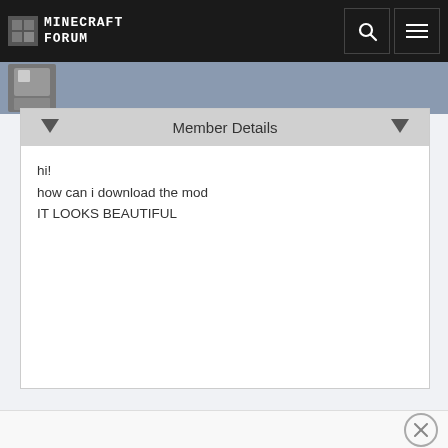MINECRAFT FORUM
Member Details
hi!
how can i download the mod
IT LOOKS BEAUTIFUL